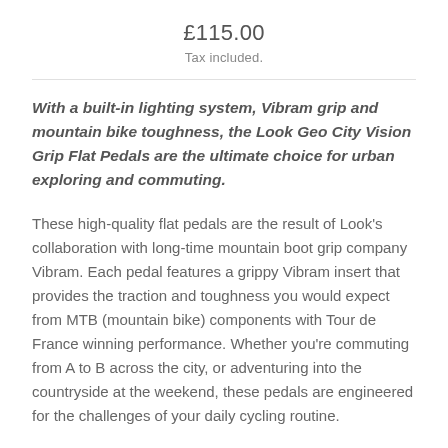£115.00
Tax included.
With a built-in lighting system, Vibram grip and mountain bike toughness, the Look Geo City Vision Grip Flat Pedals are the ultimate choice for urban exploring and commuting.
These high-quality flat pedals are the result of Look's collaboration with long-time mountain boot grip company Vibram. Each pedal features a grippy Vibram insert that provides the traction and toughness you would expect from MTB (mountain bike) components with Tour de France winning performance. Whether you're commuting from A to B across the city, or adventuring into the countryside at the weekend, these pedals are engineered for the challenges of your daily cycling routine.